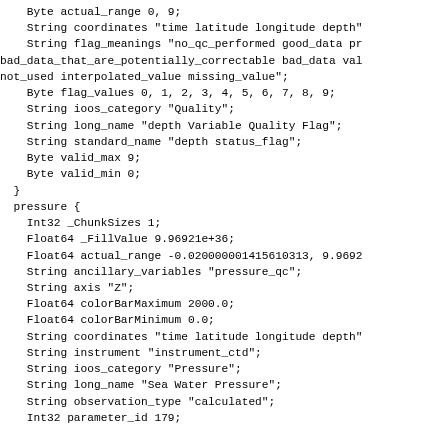Byte actual_range 0, 9;
    String coordinates "time latitude longitude depth"
    String flag_meanings "no_qc_performed good_data pr
bad_data_that_are_potentially_correctable bad_data val
not_used interpolated_value missing_value";
    Byte flag_values 0, 1, 2, 3, 4, 5, 6, 7, 8, 9;
    String ioos_category "Quality";
    String long_name "depth Variable Quality Flag";
    String standard_name "depth status_flag";
    Byte valid_max 9;
    Byte valid_min 0;
  }
  pressure {
    Int32 _ChunkSizes 1;
    Float64 _FillValue 9.96921e+36;
    Float64 actual_range -0.020000001415610313, 9.9692
    String ancillary_variables "pressure_qc";
    String axis "Z";
    Float64 colorBarMaximum 2000.0;
    Float64 colorBarMinimum 0.0;
    String coordinates "time latitude longitude depth"
    String instrument "instrument_ctd";
    String ioos_category "Pressure";
    String long_name "Sea Water Pressure";
    String observation_type "calculated";
    Int32 parameter_id 179;